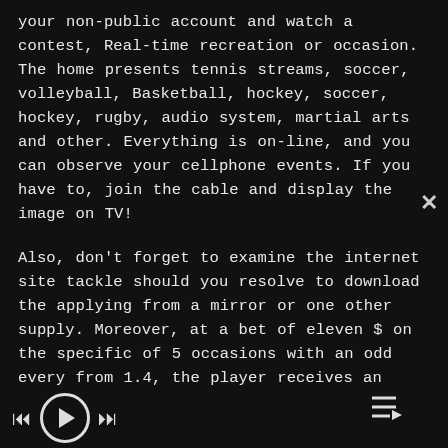your non-public account and watch a contest, Real-time recreation or occasion. The home presents tennis streams, soccer, volleyball, Basketball, hockey, soccer, hockey, rugby, audio system, martial arts and other. Everything is on-line, and you can observe your cellphone events. If you have to, join the cable and display the image on TV!
Also, don't forget to examine the internet site tackle should you resolve to download the applying from a mirror or one other supply. Moreover, at a bet of eleven $ on the specific of 5 occasions with an odd every from 1.4, the player receives an additional 300 factors. If you like the famous game for luck referred to as Bingo, then live on there 1xBet Kenya app will permit you to